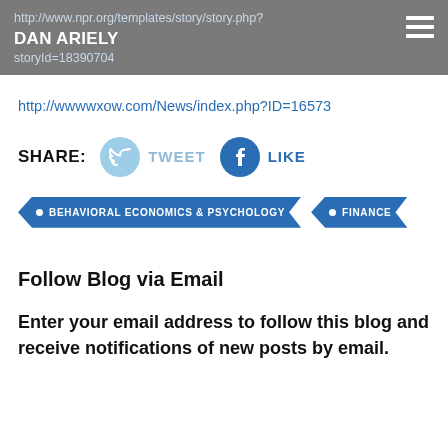http://www.npr.org/templates/story/story.php? DAN ARIELY storyId=18390704
http://wwwwxow.com/News/index.php?ID=16573
SHARE: TWEET LIKE
• BEHAVIORAL ECONOMICS & PSYCHOLOGY • FINANCE
Follow Blog via Email
Enter your email address to follow this blog and receive notifications of new posts by email.